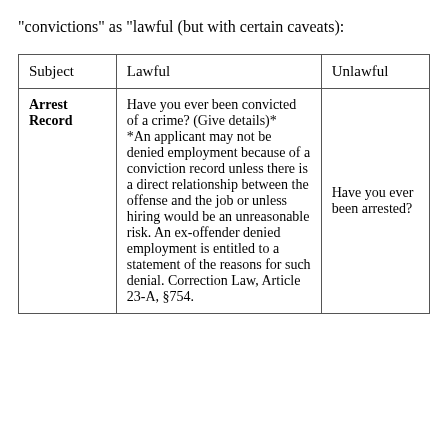"convictions" as "lawful (but with certain caveats):
| Subject | Lawful | Unlawful |
| --- | --- | --- |
| Arrest Record | Have you ever been convicted of a crime? (Give details)* *An applicant may not be denied employment because of a conviction record unless there is a direct relationship between the offense and the job or unless hiring would be an unreasonable risk. An ex-offender denied employment is entitled to a statement of the reasons for such denial. Correction Law, Article 23-A, §754. | Have you ever been arrested? |